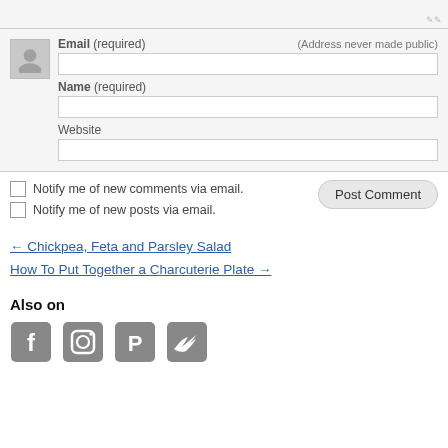Email (required) (Address never made public)
Name (required)
Website
Notify me of new comments via email.
Notify me of new posts via email.
Post Comment
← Chickpea, Feta and Parsley Salad
How To Put Together a Charcuterie Plate →
Also on
[Figure (illustration): Social media icons: Facebook, Instagram, Pinterest, Twitter]